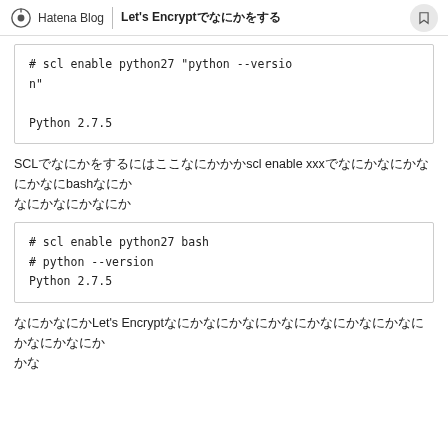Hatena Blog | Let's Encrypt日本語タイトル
# scl enable python27 "python --version"
Python 2.7.5
SCLで何かをするにはscl enable xxxでコマンドを実行するかbashを使って実行します
# scl enable python27 bash
# python --version
Python 2.7.5
次はいよいよLet's Encryptの設定です。準備が整ったので早速インストールしていきましょう。